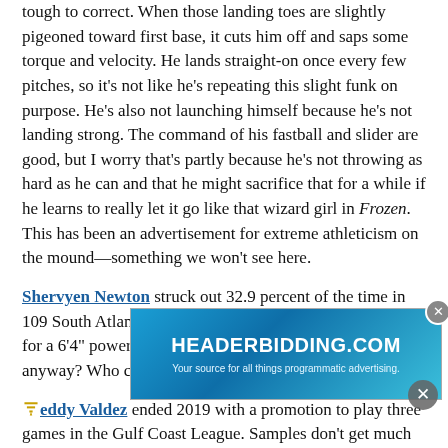tough to correct. When those landing toes are slightly pigeoned toward first base, it cuts him off and saps some torque and velocity. He lands straight-on once every few pitches, so it's not like he's repeating this slight funk on purpose. He's also not launching himself because he's not landing strong. The command of his fastball and slider are good, but I worry that's partly because he's not throwing as hard as he can and that he might sacrifice that for a while if he learns to really let it go like that wizard girl in Frozen. This has been an advertisement for extreme athleticism on the mound—something we won't see here.
Shervyen Newton struck out 32.9 percent of the time in 109 South Atlantic League games. Slugged .330. Not ideal for a 6'4" power prospect. Will they send him to High-A anyway? Who can say?! Wheeeeee!!!!
Freddy Valdez ended 2019 with a promotion to play three games in the Gulf Coast League. Samples don't get much smaller... It's just another... over a
[Figure (other): HEADERBIDDING.COM advertisement banner with teal/blue gradient background. Text reads 'HEADERBIDDING.COM' and 'Your source for all things programmatic advertising.' with a close button.]